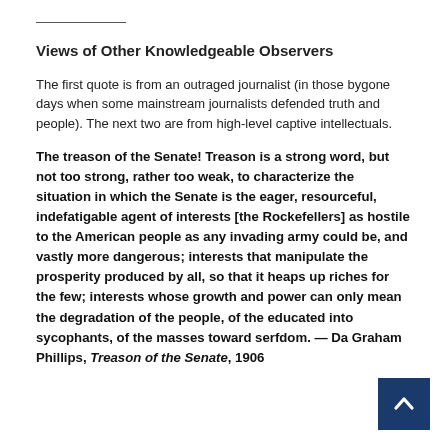Views of Other Knowledgeable Observers
The first quote is from an outraged journalist (in those bygone days when some mainstream journalists defended truth and people). The next two are from high-level captive intellectuals.
The treason of the Senate! Treason is a strong word, but not too strong, rather too weak, to characterize the situation in which the Senate is the eager, resourceful, indefatigable agent of interests [the Rockefellers] as hostile to the American people as any invading army could be, and vastly more dangerous; interests that manipulate the prosperity produced by all, so that it heaps up riches for the few; interests whose growth and power can only mean the degradation of the people, of the educated into sycophants, of the masses toward serfdom. — Da Graham Phillips, Treason of the Senate, 1906